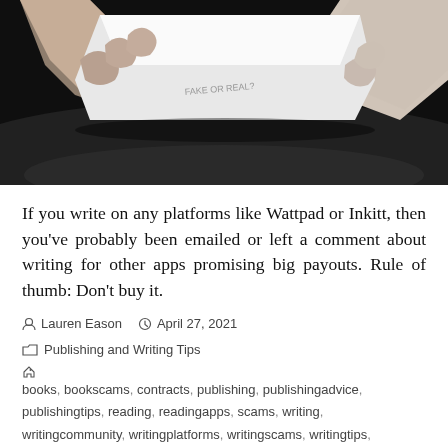[Figure (photo): Dark background photo showing hands holding/opening a white envelope or paper on a dark table surface]
If you write on any platforms like Wattpad or Inkitt, then you've probably been emailed or left a comment about writing for other apps promising big payouts. Rule of thumb: Don't buy it.
Lauren Eason   April 27, 2021
Publishing and Writing Tips
books, bookscams, contracts, publishing, publishingadvice, publishingtips, reading, readingapps, scams, writing, writingcommunity, writingplatforms, writingscams, writingtips,